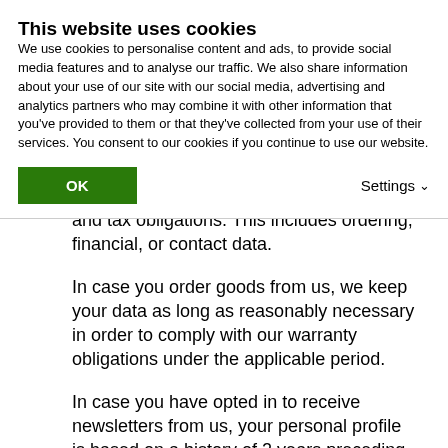This website uses cookies
We use cookies to personalise content and ads, to provide social media features and to analyse our traffic. We also share information about your use of our site with our social media, advertising and analytics partners who may combine it with other information that you've provided to them or that they've collected from your use of their services. You consent to our cookies if you continue to use our website.
and tax obligations. This includes ordering, financial, or contact data.
In case you order goods from us, we keep your data as long as reasonably necessary in order to comply with our warranty obligations under the applicable period.
In case you have opted in to receive newsletters from us, your personal profile is based on a history of 2 years preceding the newsletter.